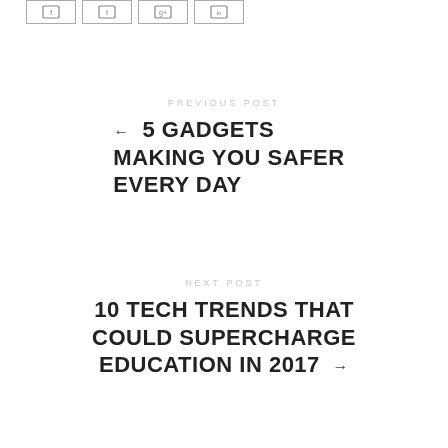[Figure (other): Row of four social media icon boxes (share buttons)]
PREVIOUS POST
← 5 GADGETS MAKING YOU SAFER EVERY DAY
NEXT POST
10 TECH TRENDS THAT COULD SUPERCHARGE EDUCATION IN 2017 →